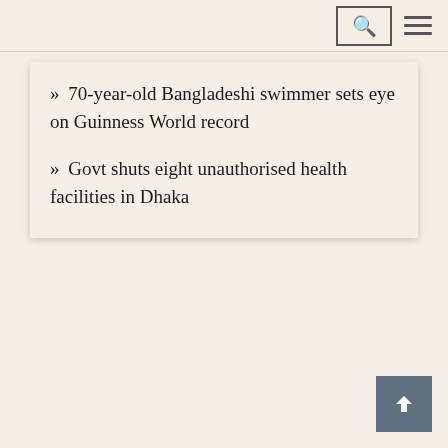» 70-year-old Bangladeshi swimmer sets eye on Guinness World record
» Govt shuts eight unauthorised health facilities in Dhaka